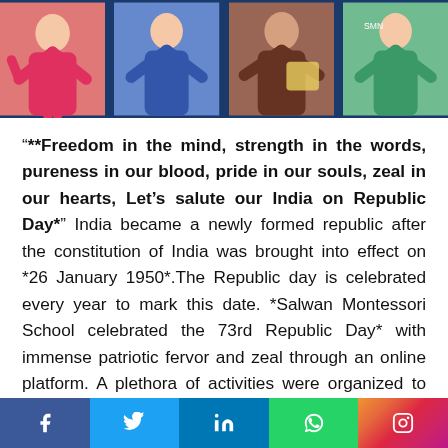[Figure (photo): A strip of four photos showing young children posing, some holding objects, celebrating Republic Day]
“**Freedom in the mind, strength in the words, pureness in our blood, pride in our souls, zeal in our hearts, Let’s salute our India on Republic Day*” India became a newly formed republic after the constitution of India was brought into effect on *26 January 1950*.The Republic day is celebrated every year to mark this date. *Salwan Montessori School celebrated the 73rd Republic Day* with immense patriotic fervor and zeal through an online platform. A plethora of activities were organized to infuse the spirit of unity, brotherhood and patriotism among the little Salwanians. They were shown informative and
[Figure (infographic): Social media share bar at the bottom with Facebook, Twitter, LinkedIn, WhatsApp, and Instagram icons]